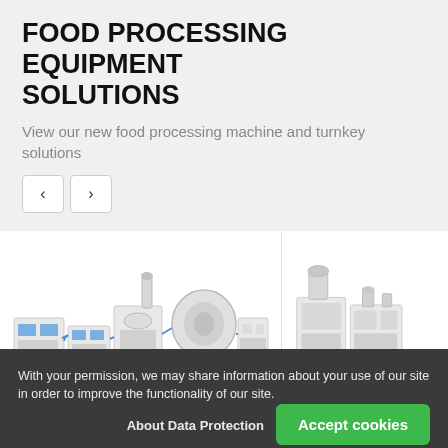FOOD PROCESSING EQUIPMENT SOLUTIONS
View our new food processing machine and turnkey solutions
[Figure (screenshot): Navigation carousel buttons (left and right arrows) for browsing food processing equipment]
[Figure (photo): Two food processing equipment machine images shown in a carousel: left image shows a large industrial food processing line with conveyor belts and multiple modules; right image (partially visible) shows another food processing machine]
With your permission, we may share information about your use of our site in order to improve the functionality of our site.
About Data Protection
Accept cookies